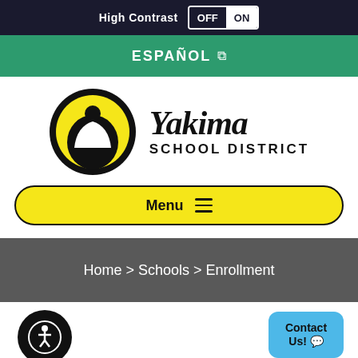High Contrast OFF ON
ESPAÑOL ↗
[Figure (logo): Yakima School District logo: circular emblem with yellow background, black figure/graduate silhouette with text 'Yakima School District' in script and sans-serif font]
Menu ≡
Home > Schools > Enrollment
[Figure (illustration): Accessibility icon: circular black button with white wheelchair/person accessibility symbol]
Contact Us! 💬